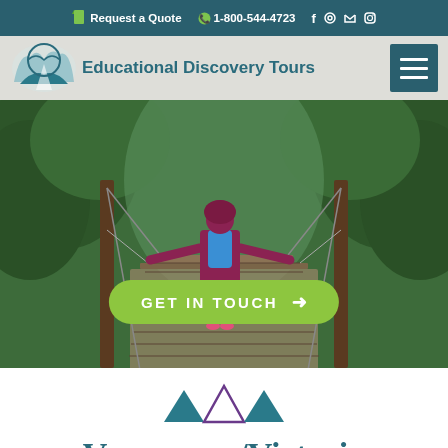Request a Quote  1-800-544-4723  [Facebook] [Pinterest] [Twitter] [Instagram]
[Figure (logo): Educational Discovery Tours logo with globe and road icon, teal and white colors]
Educational Discovery Tours
[Figure (photo): Person with blue backpack walking away on a suspension bridge in a lush green forest]
GET IN TOUCH →
[Figure (illustration): Decorative triangle motif: two teal filled triangles pointing down flanking one purple outlined triangle pointing up]
Vancouver/Victoria
Performance Tours